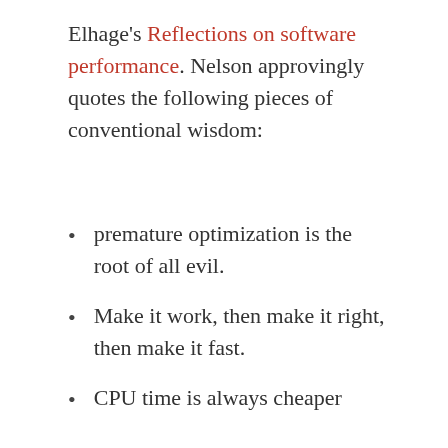Elhage's Reflections on software performance. Nelson approvingly quotes the following pieces of conventional wisdom:
premature optimization is the root of all evil.
Make it work, then make it right, then make it fast.
CPU time is always cheaper